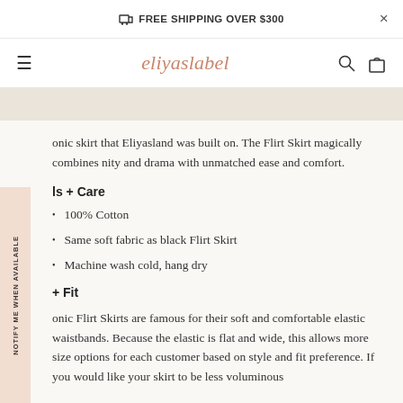FREE SHIPPING OVER $300
eliyaslabel
onic skirt that Eliyasland was built on. The Flirt Skirt magically combines nity and drama with unmatched ease and comfort.
ls + Care
100% Cotton
Same soft fabric as black Flirt Skirt
Machine wash cold, hang dry
+ Fit
onic Flirt Skirts are famous for their soft and comfortable elastic waistbands. Because the elastic is flat and wide, this allows more size options for each customer based on style and fit preference. If you would like your skirt to be less voluminous